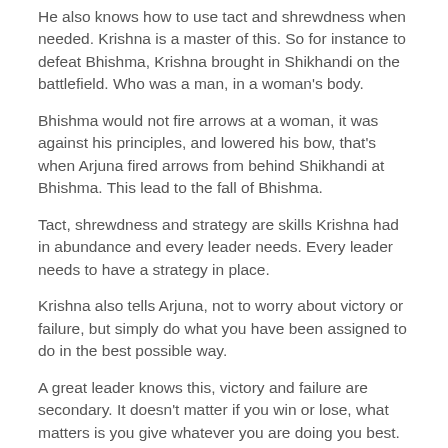He also knows how to use tact and shrewdness when needed. Krishna is a master of this. So for instance to defeat Bhishma, Krishna brought in Shikhandi on the battlefield. Who was a man, in a woman's body.
Bhishma would not fire arrows at a woman, it was against his principles, and lowered his bow, that's when Arjuna fired arrows from behind Shikhandi at Bhishma. This lead to the fall of Bhishma.
Tact, shrewdness and strategy are skills Krishna had in abundance and every leader needs. Every leader needs to have a strategy in place.
Krishna also tells Arjuna, not to worry about victory or failure, but simply do what you have been assigned to do in the best possible way.
A great leader knows this, victory and failure are secondary. It doesn't matter if you win or lose, what matters is you give whatever you are doing you best.
If I am sharing this, I should share it in the best